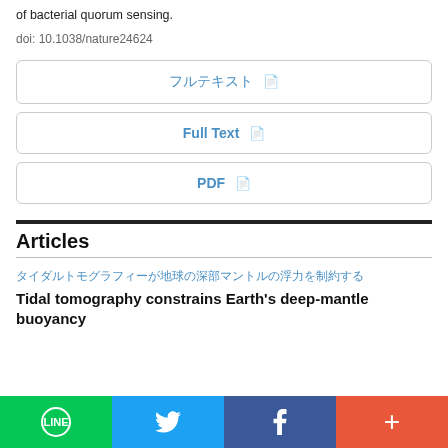of bacterial quorum sensing.
doi: 10.1038/nature24624
フルテキスト (button)
Full Text (button)
PDF (button)
Articles
タイダルトモグラフィーが地球の深部マントルの浮力を制約する
Tidal tomography constrains Earth's deep-mantle buoyancy